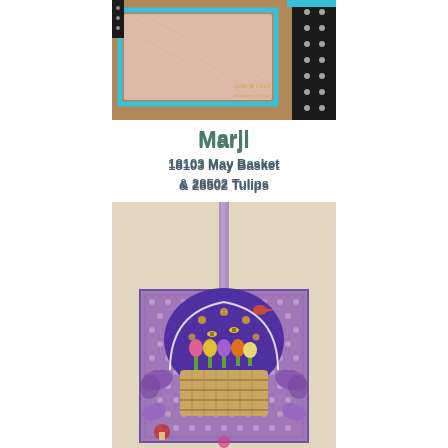[Figure (photo): A craft/fabric project bag shown from the front, featuring pink textured fabric, teal border, black and white dotted fabric, brown base, with a Julie & Cecil watermark logo]
Marji
18103 May Basket
& 28502 Tulips
[Figure (photo): A decorative wall hanging featuring a May Basket with tulips, hanging from a purple ribbon on a beige wall. The piece has a purple polka-dot background with a basket of colorful tulips under a large purple dome/umbrella shape, with bees and a bird, and purple bow accents on the sides.]